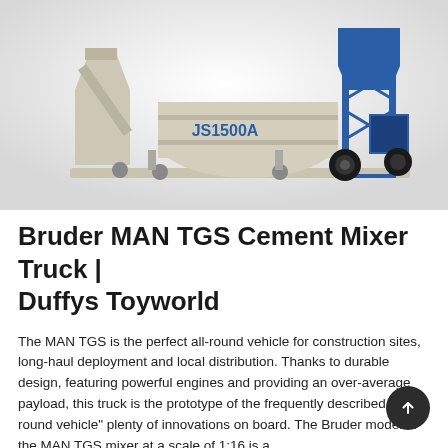[Figure (photo): Industrial cement mixer machine labeled JS1500A, predominantly beige/cream colored body with blue structural frame and hopper, sitting on a metal platform against a light gray background.]
Bruder MAN TGS Cement Mixer Truck | Duffys Toyworld
The MAN TGS is the perfect all-round vehicle for construction sites, long-haul deployment and local distribution. Thanks to durable design, featuring powerful engines and providing an over-average payload, this truck is the prototype of the frequently described "all-round vehicle" plenty of innovations on board. The Bruder model of the MAN TGS mixer at a scale of 1:16 is a